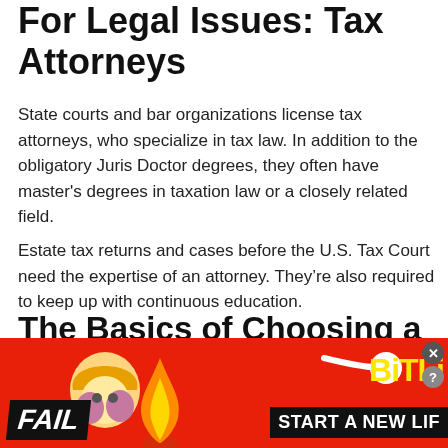For Legal Issues: Tax Attorneys
State courts and bar organizations license tax attorneys, who specialize in tax law. In addition to the obligatory Juris Doctor degrees, they often have master's degrees in taxation law or a closely related field.
Estate tax returns and cases before the U.S. Tax Court need the expertise of an attorney. They're also required to keep up with continuous education.
The Basics of Choosing a Tax Expert: Understand Your Needs
Finding the right tax expert begins by determining what...
[Figure (infographic): Advertisement banner showing a cartoon character, flames, 'FAIL' text, BitLife logo in yellow, and 'START A NEW LIF' tagline on red background.]